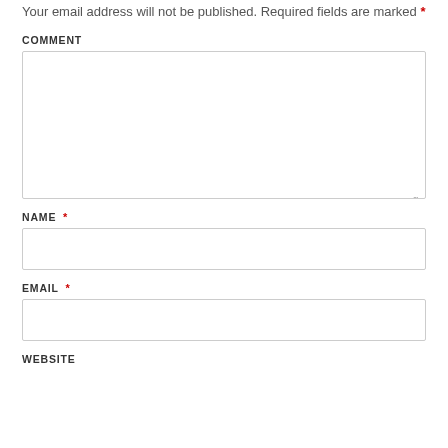Your email address will not be published. Required fields are marked *
COMMENT
NAME *
EMAIL *
WEBSITE